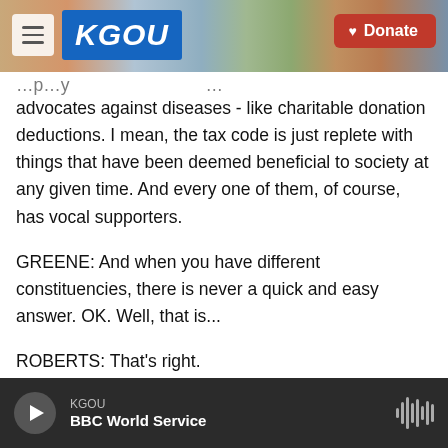[Figure (screenshot): KGOU radio website header with logo, menu button, background city photo, and red Donate button]
advocates against diseases - like charitable donation deductions. I mean, the tax code is just replete with things that have been deemed beneficial to society at any given time. And every one of them, of course, has vocal supporters.
GREENE: And when you have different constituencies, there is never a quick and easy answer. OK. Well, that is...
ROBERTS: That's right.
GREENE: That is Cokie Roberts. And just a reminder
KGOU  BBC World Service